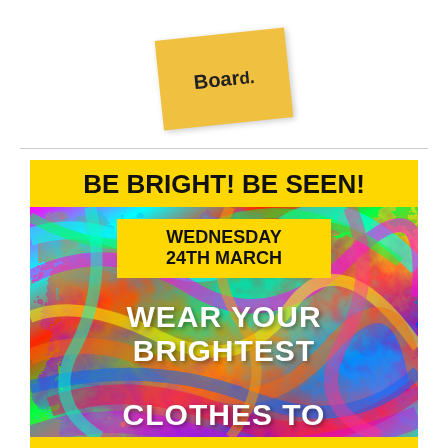[Figure (illustration): Yellow sticky note rotated slightly with handwritten text 'Board' on it]
[Figure (infographic): Flyer with yellow header 'BE BRIGHT! BE SEEN!' on yellow background, then a colorful swirling rainbow background with a yellow badge showing 'WEDNESDAY 24TH MARCH', and white bold text 'WEAR YOUR BRIGHTEST CLOTHES TO' at the bottom]
BE BRIGHT! BE SEEN!
WEDNESDAY 24TH MARCH
WEAR YOUR BRIGHTEST CLOTHES TO